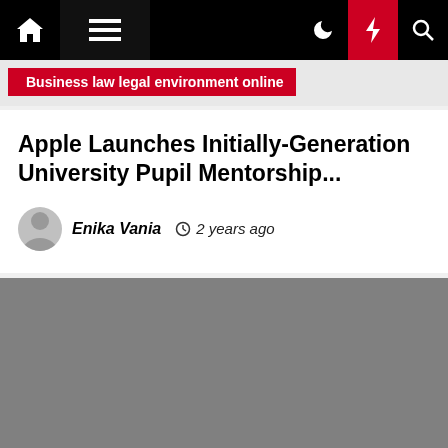Business law legal environment online
Apple Launches Initially-Generation University Pupil Mentorship...
Enika Vania  2 years ago
[Figure (photo): Gray placeholder image for article content]